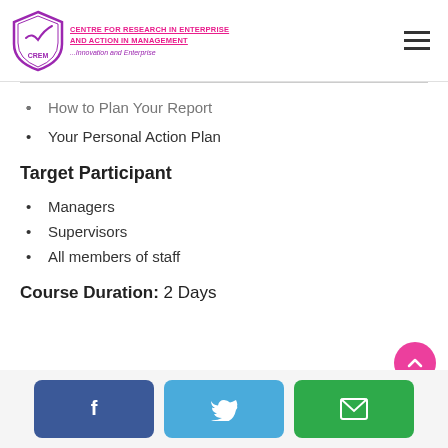CENTRE FOR RESEARCH IN ENTERPRISE AND ACTION IN MANAGEMENT ...Innovation and Enterprise
How to Plan Your Report
Your Personal Action Plan
Target Participant
Managers
Supervisors
All members of staff
Course Duration:  2 Days
[Figure (other): Facebook, Twitter, and Email share/contact buttons at the bottom of the page, and a pink scroll-to-top button]